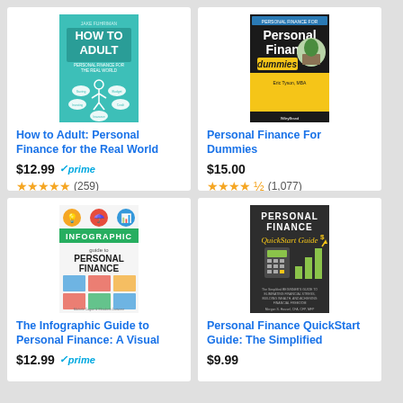[Figure (illustration): Book cover: How to Adult - Personal Finance for the Real World, teal/green cover with stick figure]
How to Adult: Personal Finance for the Real World
$12.99 prime (259 reviews) ★★★★★
[Figure (illustration): Book cover: Personal Finance For Dummies, black and yellow cover with piggy bank]
Personal Finance For Dummies
$15.00 (1,077 reviews) ★★★★½
[Figure (illustration): Book cover: The Infographic Guide to Personal Finance: A Visual, colorful infographic style cover]
The Infographic Guide to Personal Finance: A Visual
$12.99 prime
[Figure (illustration): Book cover: Personal Finance QuickStart Guide: The Simplified, dark cover with calculator and charts]
Personal Finance QuickStart Guide: The Simplified
$9.99